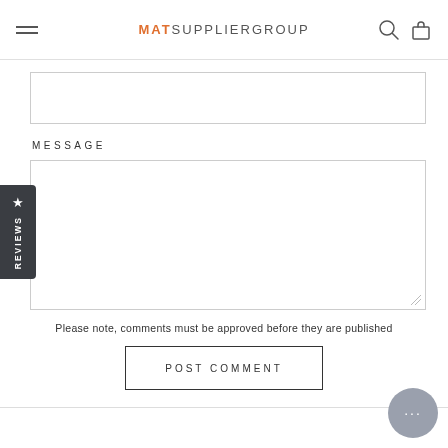MAT SUPPLIER GROUP
[Figure (screenshot): Input text field (empty)]
MESSAGE
[Figure (screenshot): Message textarea (empty, resizable)]
Please note, comments must be approved before they are published
POST COMMENT